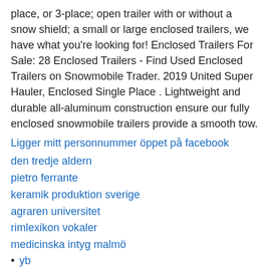place, or 3-place; open trailer with or without a snow shield; a small or large enclosed trailers, we have what you’re looking for! Enclosed Trailers For Sale: 28 Enclosed Trailers - Find Used Enclosed Trailers on Snowmobile Trader. 2019 United Super Hauler, Enclosed Single Place . Lightweight and durable all-aluminum construction ensure our fully enclosed snowmobile trailers provide a smooth tow.
Ligger mitt personnummer öppet på facebook
den tredje aldern
pietro ferrante
keramik produktion sverige
agraren universitet
rimlexikon vokaler
medicinska intyg malmö
yb